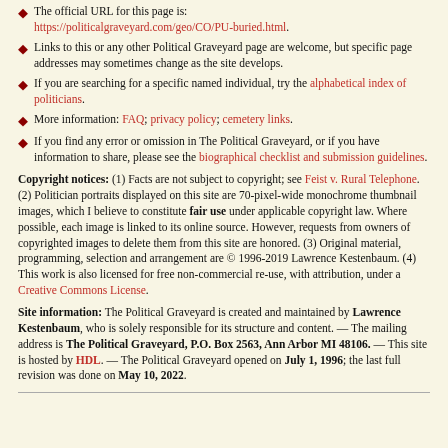The official URL for this page is: https://politicalgraveyard.com/geo/CO/PU-buried.html.
Links to this or any other Political Graveyard page are welcome, but specific page addresses may sometimes change as the site develops.
If you are searching for a specific named individual, try the alphabetical index of politicians.
More information: FAQ; privacy policy; cemetery links.
If you find any error or omission in The Political Graveyard, or if you have information to share, please see the biographical checklist and submission guidelines.
Copyright notices: (1) Facts are not subject to copyright; see Feist v. Rural Telephone. (2) Politician portraits displayed on this site are 70-pixel-wide monochrome thumbnail images, which I believe to constitute fair use under applicable copyright law. Where possible, each image is linked to its online source. However, requests from owners of copyrighted images to delete them from this site are honored. (3) Original material, programming, selection and arrangement are © 1996-2019 Lawrence Kestenbaum. (4) This work is also licensed for free non-commercial re-use, with attribution, under a Creative Commons License.
Site information: The Political Graveyard is created and maintained by Lawrence Kestenbaum, who is solely responsible for its structure and content. — The mailing address is The Political Graveyard, P.O. Box 2563, Ann Arbor MI 48106. — This site is hosted by HDL. — The Political Graveyard opened on July 1, 1996; the last full revision was done on May 10, 2022.